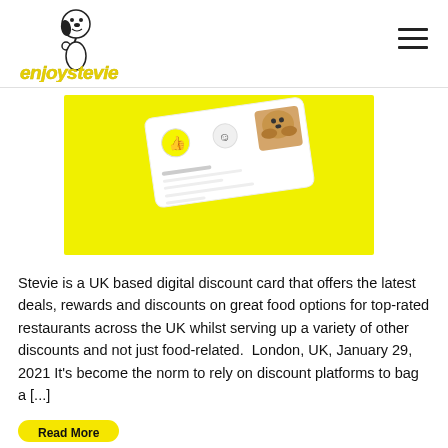[Figure (logo): enjoystevie logo with Snoopy-like cartoon character giving thumbs up, yellow handwritten-style text reading 'enjoystevie']
[Figure (photo): Yellow background with a tilted discount card showing the enjoystevie branding, icons, and a dog photo on a bright yellow background]
Stevie is a UK based digital discount card that offers the latest deals, rewards and discounts on great food options for top-rated restaurants across the UK whilst serving up a variety of other discounts and not just food-related.  London, UK, January 29, 2021 It's become the norm to rely on discount platforms to bag a [...]